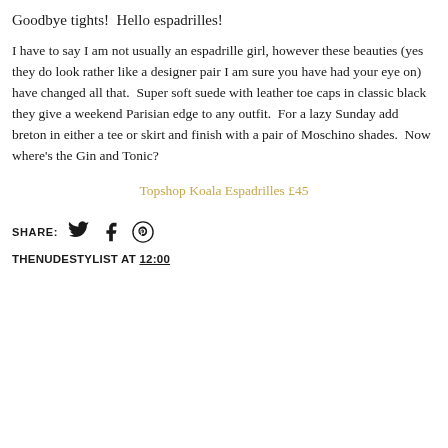Goodbye tights!  Hello espadrilles!
I have to say I am not usually an espadrille girl, however these beauties (yes they do look rather like a designer pair I am sure you have had your eye on) have changed all that.  Super soft suede with leather toe caps in classic black they give a weekend Parisian edge to any outfit.  For a lazy Sunday add breton in either a tee or skirt and finish with a pair of Moschino shades.  Now where's the Gin and Tonic?
Topshop Koala Espadrilles £45
SHARE:
THENUDESTYLIST AT 12:00